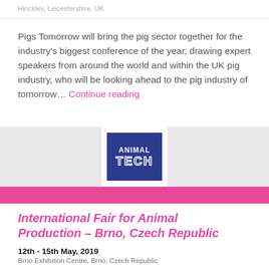Hinckley, Leicestershire, UK
Pigs Tomorrow will bring the pig sector together for the industry's biggest conference of the year, drawing expert speakers from around the world and within the UK pig industry, who will be looking ahead to the pig industry of tomorrow... Continue reading
[Figure (logo): ANIMAL TECH logo — dark blue square with 'ANIMAL' text and 'TECH' text in outline style, white on navy background]
International Fair for Animal Production – Brno, Czech Republic
12th - 15th May, 2019
Brno Exhibition Centre, Brno, Czech Republic
ANIMAL TECH will take place in 2019 jointly with the National Show of Livestock and the National Gamekeeping Show. This group of trade fairs was set up in cooperation with partners and co-organisers —